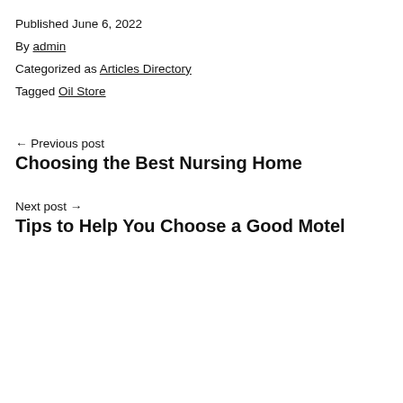Published June 6, 2022
By admin
Categorized as Articles Directory
Tagged Oil Store
← Previous post
Choosing the Best Nursing Home
Next post →
Tips to Help You Choose a Good Motel